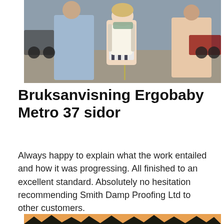[Figure (photo): Photo of a person from behind wearing a backpack and striped tank top in a parking lot with motorcycles and other people]
Bruksanvisning Ergobaby Metro 37 sidor
Always happy to explain what the work entailed and how it was progressing. All finished to an excellent standard. Absolutely no hesitation recommending Smith Damp Proofing Ltd to other customers.
[Figure (photo): Photo of a sunset with silhouettes of trees against an orange sky]